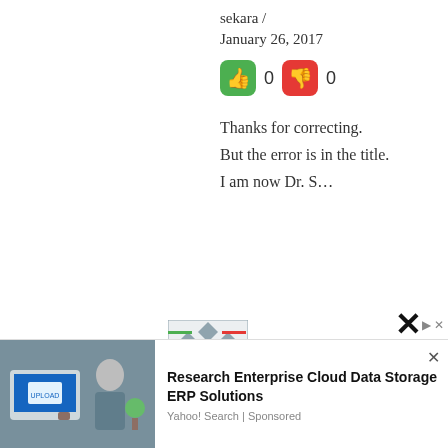sekara / January 26, 2017
[Figure (illustration): Green thumbs-up button and red thumbs-down button with vote counts 0 and 0]
Thanks for correcting.
But the error is in the title.
I am now Dr. S…
[Figure (illustration): Geometric avatar icon with blue/grey diamond pattern]
Go Ah Way / January 25, 2017
[Figure (screenshot): Advertisement banner: Research Enterprise Cloud Data Storage ERP Solutions - Yahoo! Search | Sponsored, with image of person working at computer with upload screen]